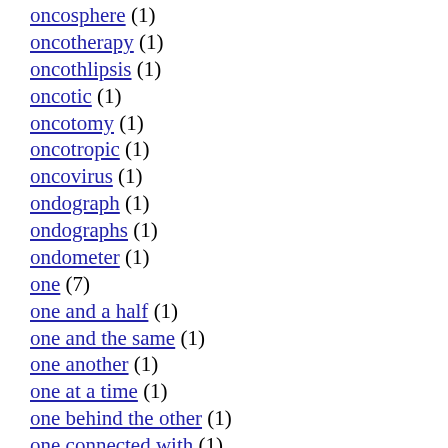oncosphere (1)
oncotherapy (1)
oncothlipsis (1)
oncotic (1)
oncotomy (1)
oncotropic (1)
oncovirus (1)
ondograph (1)
ondographs (1)
ondometer (1)
one (7)
one and a half (1)
one and the same (1)
one another (1)
one at a time (1)
one behind the other (1)
one connected with (1)
one each (1)
one fourth (1)
one in which are deposited sacred relics (1)